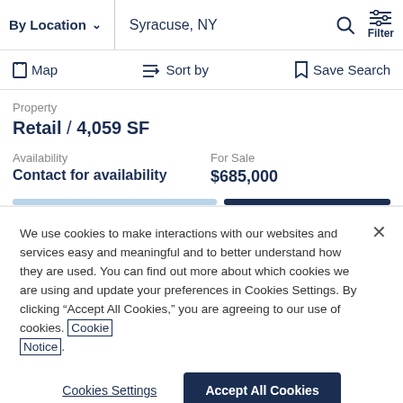By Location   Syracuse, NY   Filter
Map   Sort by   Save Search
Property
Retail / 4,059 SF
Availability
Contact for availability
For Sale
$685,000
We use cookies to make interactions with our websites and services easy and meaningful and to better understand how they are used. You can find out more about which cookies we are using and update your preferences in Cookies Settings. By clicking “Accept All Cookies,” you are agreeing to our use of cookies. Cookie Notice.
Cookies Settings
Accept All Cookies